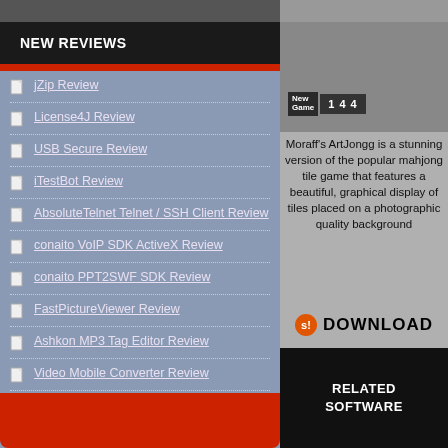NEW REVIEWS
jZip Review
License4J Review
USB Secure Review
iTestBot Review
AbsoluteTelnet Telnet / SSH Client Review
conaito VoIP SDK ActiveX Review
conaito PPT2SWF SDK Review
FastPictureViewer Review
Ashkon MP3 Tag Editor Review
Video Mobile Converter Review
[Figure (screenshot): Game screenshot showing New Game button with tile numbers 1 4 4]
Moraff's ArtJongg is a stunning version of the popular mahjong tile game that features a beautiful, graphical display of tiles placed on a photographic quality background
DOWNLOAD
RELATED SOFTWARE